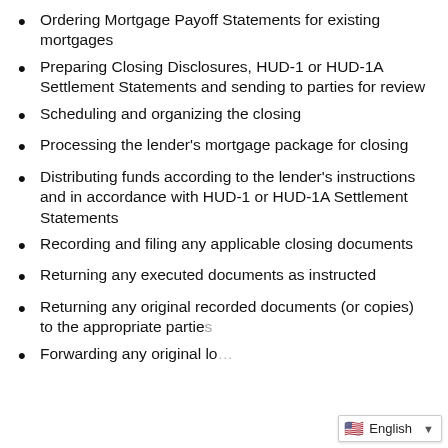Ordering Mortgage Payoff Statements for existing mortgages
Preparing Closing Disclosures, HUD-1 or HUD-1A Settlement Statements and sending to parties for review
Scheduling and organizing the closing
Processing the lender's mortgage package for closing
Distributing funds according to the lender's instructions and in accordance with HUD-1 or HUD-1A Settlement Statements
Recording and filing any applicable closing documents
Returning any executed documents as instructed
Returning any original recorded documents (or copies) to the appropriate parties
Forwarding any original lo…